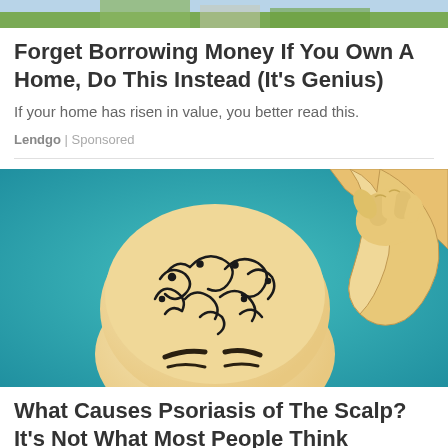[Figure (photo): Partial top of an outdoor photo, green grass and pathway visible]
Forget Borrowing Money If You Own A Home, Do This Instead (It's Genius)
If your home has risen in value, you better read this.
Lendgo | Sponsored
[Figure (illustration): Illustrated image of a bald person scratching their scalp with swirling pattern on head against teal background]
What Causes Psoriasis of The Scalp? It's Not What Most People Think